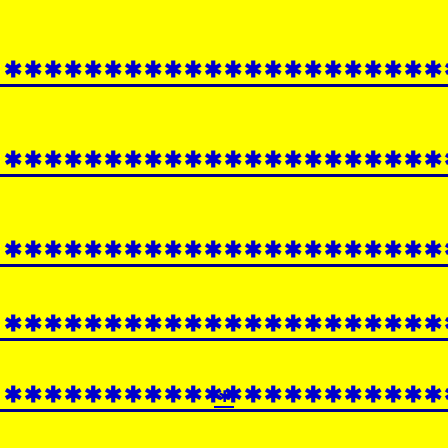********************************
********************************
********************************
********************************
********************************
✱